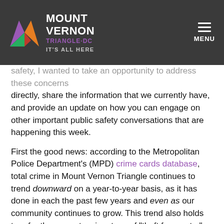MOUNT VERNON TRIANGLE·DC IT'S ALL HERE
safety, I wanted to take an opportunity to address these concerns directly, share the information that we currently have, and provide an update on how you can engage on other important public safety conversations that are happening this week.
First the good news: according to the Metropolitan Police Department's (MPD) crime cards database, total crime in Mount Vernon Triangle continues to trend downward on a year-to-year basis, as it has done in each the past few years and even as our community continues to grow. This trend also holds true for the property crime type of "theft from auto," which is a persistent issue across the city – and quite frankly is a crime that is very difficult to eliminate – but is an area in which we continue to make progress. Additional information about how to decrease your chances of becoming a victim of theft from auto is available for review at the end of this correspondence.
So now to the vandalism. As some of you by now know, this past